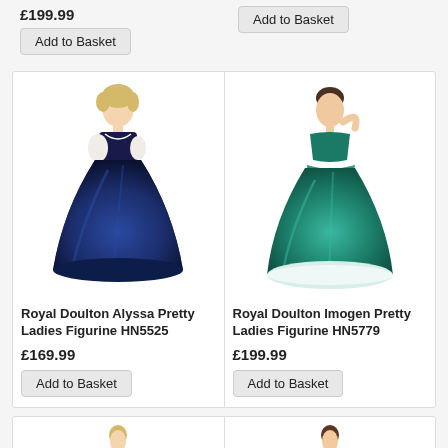£199.99
Add to Basket
Add to Basket
[Figure (photo): Royal Doulton Alyssa Pretty Ladies Figurine HN5525 - woman in navy blue ball gown]
[Figure (photo): Royal Doulton Imogen Pretty Ladies Figurine HN5779 - woman in teal/green ball gown]
Royal Doulton Alyssa Pretty Ladies Figurine HN5525
£169.99
Add to Basket
Royal Doulton Imogen Pretty Ladies Figurine HN5779
£199.99
Add to Basket
[Figure (photo): Royal Doulton Pretty Ladies figurine - woman in blue dress]
[Figure (photo): Royal Doulton Pretty Ladies figurine - woman in yellow/green dress]